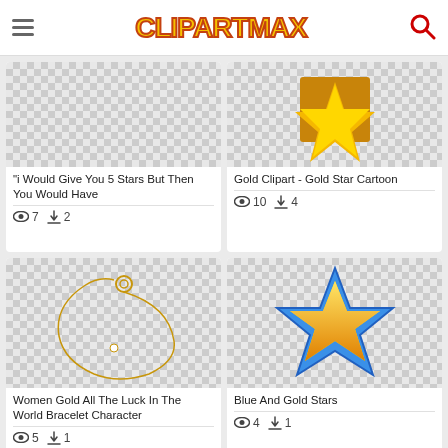ClipartMax
[Figure (screenshot): Clipart image with checkerboard transparency background - partial view of gold star clipart]
"i Would Give You 5 Stars But Then You Would Have
👁 7  ⬇ 2
[Figure (screenshot): Gold Star Cartoon clipart on checkerboard background - partially visible]
Gold Clipart - Gold Star Cartoon
👁 10  ⬇ 4
[Figure (photo): Women gold bracelet on checkerboard transparency background]
Women Gold All The Luck In The World Bracelet Character
👁 5  ⬇ 1
[Figure (illustration): Blue and gold star clipart on checkerboard background]
Blue And Gold Stars
👁 4  ⬇ 1
[Figure (screenshot): Partial view of another clipart - bottom of page]
[Figure (screenshot): Partial view of another clipart - bottom of page]